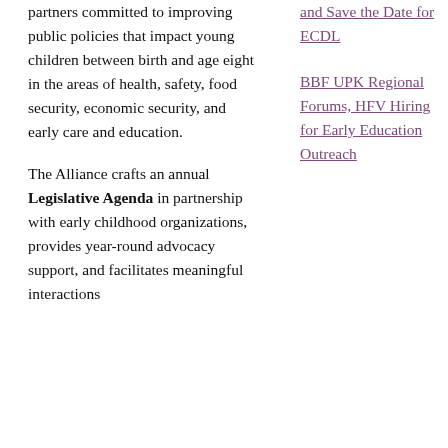partners committed to improving public policies that impact young children between birth and age eight in the areas of health, safety, food security, economic security, and early care and education.
The Alliance crafts an annual Legislative Agenda in partnership with early childhood organizations, provides year-round advocacy support, and facilitates meaningful interactions
and Save the Date for ECDL
BBF UPK Regional Forums, HFV Hiring for Early Education Outreach